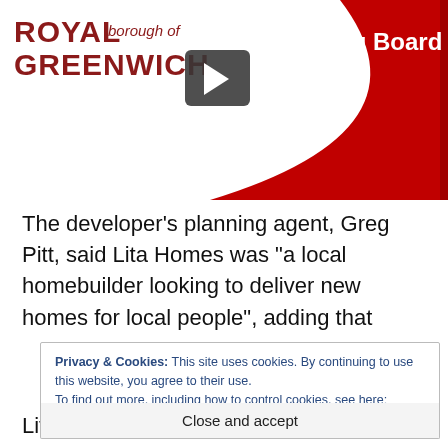[Figure (screenshot): Royal Borough of Greenwich Planning Board video thumbnail with red sweep design and play button]
The developer’s planning agent, Greg Pitt, said Lita Homes was “a local homebuilder looking to deliver new homes for local people”, adding that
Privacy & Cookies: This site uses cookies. By continuing to use this website, you agree to their use.
To find out more, including how to control cookies, see here: Cookie Policy
Close and accept
Lita was accepting “below-average profits of